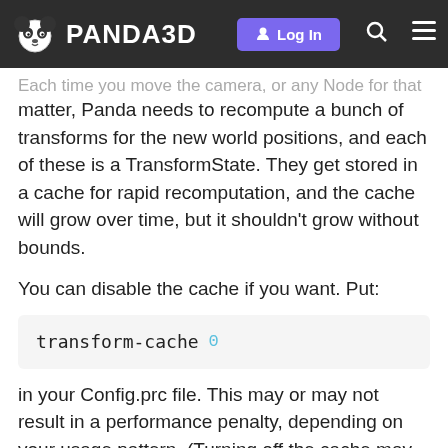PANDA3D | Log In
Each time you move the camera, or any Node for that matter, Panda needs to recompute a bunch of transforms for the new world positions, and each of these is a TransformState. They get stored in a cache for rapid recomputation, and the cache will grow over time, but it shouldn't grow without bounds.
You can disable the cache if you want. Put:
transform-cache 0
in your Config.prc file. This may or may not result in a performance penalty, depending on your usage pattern. (Turning off the cache may hurt performance by causing more transforms to have to be recomputed unnecessarily. Then again, it may help performance if you are filling up the cache with a lot of TransformStates that never get revisited.)
I'm surprised that it appears to be a le
1 / 9